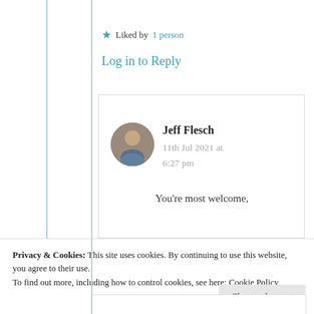★ Liked by 1 person
Log in to Reply
Jeff Flesch
11th Jul 2021 at 6:27 pm
[Figure (photo): Circular avatar photo of Jeff Flesch]
You're most welcome,
Privacy & Cookies: This site uses cookies. By continuing to use this website, you agree to their use.
To find out more, including how to control cookies, see here: Cookie Policy
Close and accept